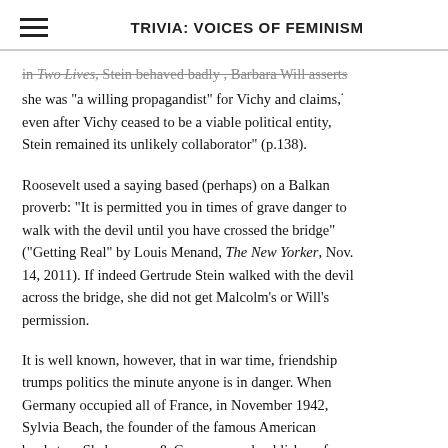TRIVIA: VOICES OF FEMINISM
In Two Lives, Stein behaved badly , Barbara Will asserts she was "a willing propagandist" for Vichy and claims, even after Vichy ceased to be a viable political entity, Stein remained its unlikely collaborator" (p.138).
Roosevelt used a saying based (perhaps) on a Balkan proverb: "It is permitted you in times of grave danger to walk with the devil until you have crossed the bridge" ("Getting Real" by Louis Menand, The New Yorker, Nov. 14, 2011). If indeed Gertrude Stein walked with the devil across the bridge, she did not get Malcolm's or Will's permission.
It is well known, however, that in war time, friendship trumps politics the minute anyone is in danger. When Germany occupied all of France, in November 1942, Sylvia Beach, the founder of the famous American bookstore Shakespeare & Company and publisher of